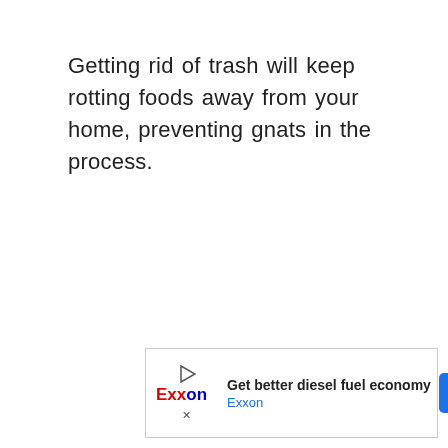Getting rid of trash will keep rotting foods away from your home, preventing gnats in the process.
[Figure (other): Exxon advertisement banner showing 'Get better diesel fuel economy' with Exxon logo, blue navigation arrow icon, play button icon, and close (X) button.]